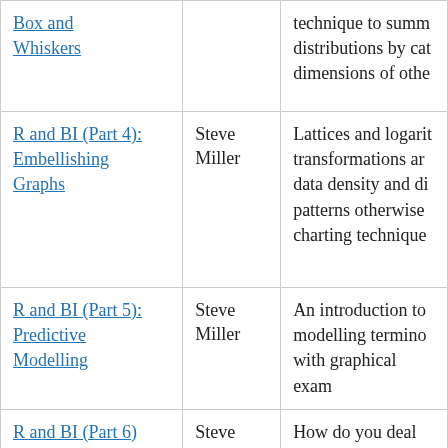| Title | Author | Description |
| --- | --- | --- |
| Box and Whiskers |  | technique to summ… distributions by cat… dimensions of othe… |
| R and BI (Part 4): Embellishing Graphs | Steve Miller | Lattices and logarit… transformations ar… data density and di… patterns otherwise… charting technique… |
| R and BI (Part 5): Predictive Modelling | Steve Miller | An introduction to… modelling termino… with graphical exam… |
| R and BI (Part 6): Re-expressing Data | Steve Miller | How do you deal wi… distributions? Stan… techniques on this… fail to illuminate re… |